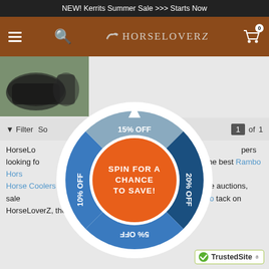NEW! Kerrits Summer Sale >>> Starts Now
[Figure (screenshot): HorseLoverZ website navigation bar with hamburger menu, search icon, HorseLoverZ logo, and shopping cart icon with 0 badge]
[Figure (photo): Product photo of a horse wearing a blanket on a green background]
Filter  Sort  1 of 1
[Figure (donut-chart): SPIN FOR A CHANCE TO SAVE!]
HorseLoverZ ... popular Horse Blankets ... pers looking for ... affordable ... f the best Rambo Horse... Rambo Horse Coolers ... ner through our online auctions, sale... Guarantee! Purchase your Rambo tack on HorseLoverZ, the world's largest online tack shop.
[Figure (logo): TrustedSite badge with green checkmark]